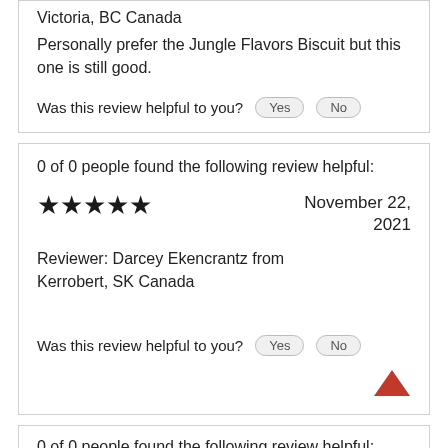Victoria, BC Canada
Personally prefer the Jungle Flavors Biscuit but this one is still good.
Was this review helpful to you?  Yes  No
0 of 0 people found the following review helpful:
★★★★★  November 22, 2021
Reviewer: Darcey Ekencrantz from Kerrobert, SK Canada
Was this review helpful to you?  Yes  No
0 of 0 people found the following review helpful: